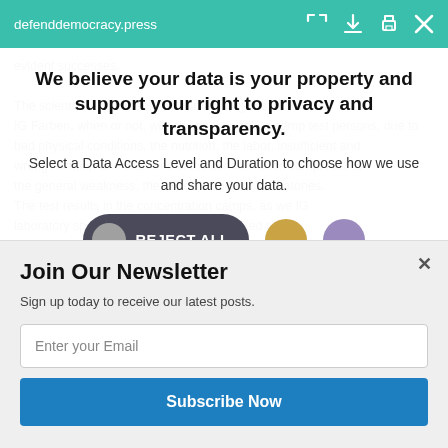defenddemocracy.press
evident successes.
We believe your data is your property and support your right to privacy and transparency.
Select a Data Access Level and Duration to choose how we use and share your data.
REJECT ALL   [gold circle]   [purple circle]   1 month  ▾
Join Our Newsletter
Sign up today to receive our latest posts.
Enter your Email
Subscribe Now